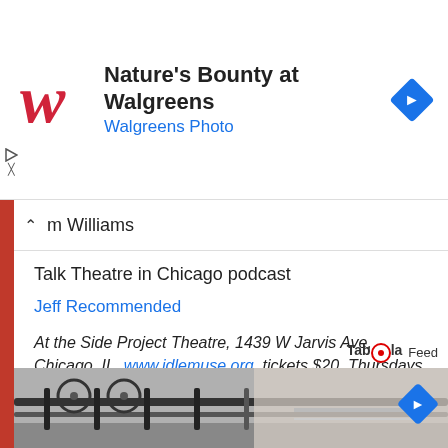[Figure (logo): Walgreens ad banner with Walgreens script W logo, text 'Nature's Bounty at Walgreens' and 'Walgreens Photo', and a blue navigation diamond icon]
m Williams
Talk Theatre in Chicago podcast
Jeff Recommended
At the Side Project Theatre, 1439 W Jarvis Ave, Chicago, IL, www.idlemuse.org, tickets $20, Thursdays thru Saturdays at 8 pm, Sundays at 3pm, running time is 2 hours, 15 minutes with intermission, through March 18, 2012
[Figure (screenshot): Taboola Feed logo and bottom image strip showing a street scene with bicycle rack and railing]